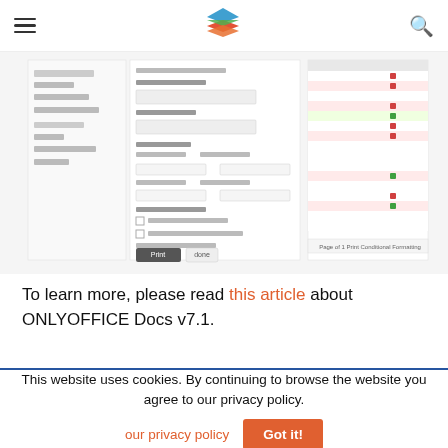Navigation bar with hamburger menu, ONLYOFFICE logo, and search icon
[Figure (screenshot): Screenshot of ONLYOFFICE Docs interface showing a spreadsheet print settings dialog and a data table with colored rows]
To learn more, please read this article about ONLYOFFICE Docs v7.1.
This website uses cookies. By continuing to browse the website you agree to our privacy policy.
our privacy policy  Got it!